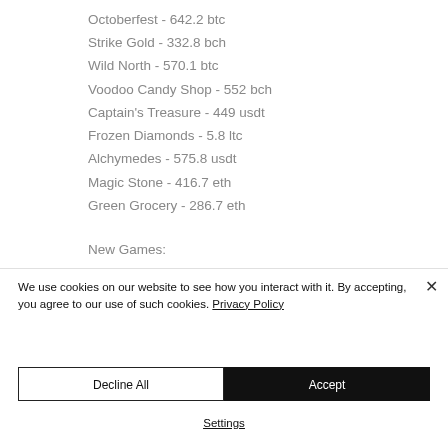Octoberfest - 642.2 btc
Strike Gold - 332.8 bch
Wild North - 570.1 btc
Voodoo Candy Shop - 552 bch
Captain's Treasure - 449 usdt
Frozen Diamonds - 5.8 ltc
Alchymedes - 575.8 usdt
Magic Stone - 416.7 eth
Green Grocery - 286.7 eth
New Games:
We use cookies on our website to see how you interact with it. By accepting, you agree to our use of such cookies. Privacy Policy
Decline All
Accept
Settings